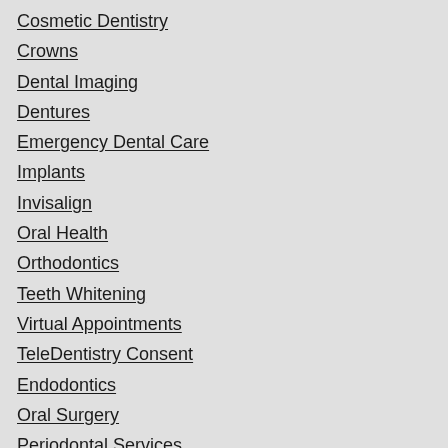Cosmetic Dentistry
Crowns
Dental Imaging
Dentures
Emergency Dental Care
Implants
Invisalign
Oral Health
Orthodontics
Teeth Whitening
Virtual Appointments
TeleDentistry Consent
Endodontics
Oral Surgery
Periodontal Services